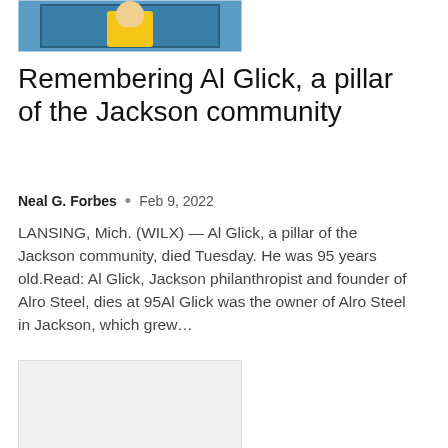[Figure (photo): Partial view of a person in a yellow shirt, shown from mid-chest up inside what appears to be a TV broadcast frame, with blue background]
Remembering Al Glick, a pillar of the Jackson community
Neal G. Forbes • Feb 9, 2022
LANSING, Mich. (WILX) — Al Glick, a pillar of the Jackson community, died Tuesday. He was 95 years old.Read: Al Glick, Jackson philanthropist and founder of Alro Steel, dies at 95Al Glick was the owner of Alro Steel in Jackson, which grew...
[Figure (photo): Gray placeholder image block]